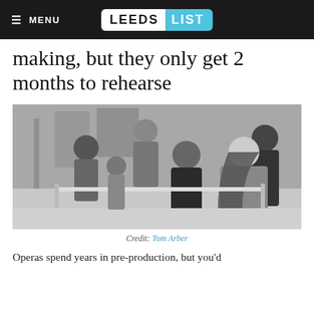☰ MENU  LEEDS LIST
making, but they only get 2 months to rehearse
[Figure (photo): Black and white photograph of opera performers and a director laughing and rehearsing together in a rehearsal room. Several women are shown mid-laugh, with a man in the background observing.]
Credit: Tom Arber
Operas spend years in pre-production, but you'd